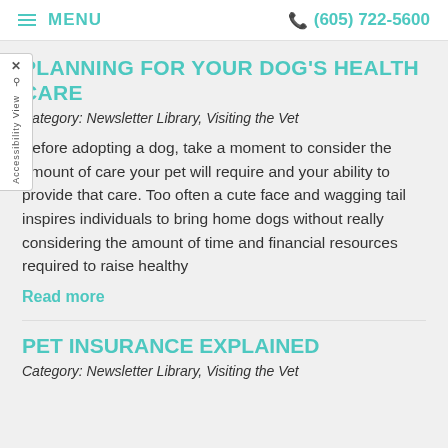MENU  (605) 722-5600
PLANNING FOR YOUR DOG'S HEALTH CARE
Category: Newsletter Library, Visiting the Vet
Before adopting a dog, take a moment to consider the amount of care your pet will require and your ability to provide that care. Too often a cute face and wagging tail inspires individuals to bring home dogs without really considering the amount of time and financial resources required to raise healthy
Read more
PET INSURANCE EXPLAINED
Category: Newsletter Library, Visiting the Vet